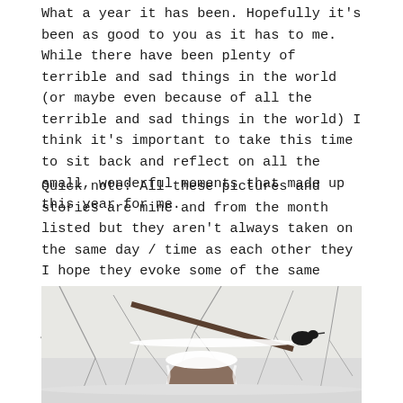What a year it has been. Hopefully it's been as good to you as it has to me. While there have been plenty of terrible and sad things in the world (or maybe even because of all the terrible and sad things in the world) I think it's important to take this time to sit back and reflect on all the small, wonderful moments that made up this year for me.
Quick note: All these pictures and stories are mine and from the month listed but they aren't always taken on the same day / time as each other they I hope they evoke some of the same feelings.
January
[Figure (photo): A winter outdoor photo showing snow-covered branches and what appears to be a snow-dusted round object (possibly a birdhouse or fruit) in the foreground, with bare tree branches against a pale grey winter sky.]